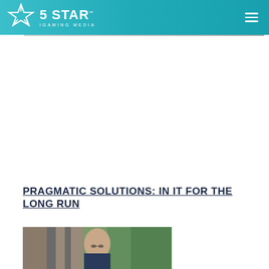5 STAR iGAMING MEDIA
PRAGMATIC SOLUTIONS: IN IT FOR THE LONG RUN
[Figure (photo): Portrait photo of a man with glasses in front of a window with green foliage outside]